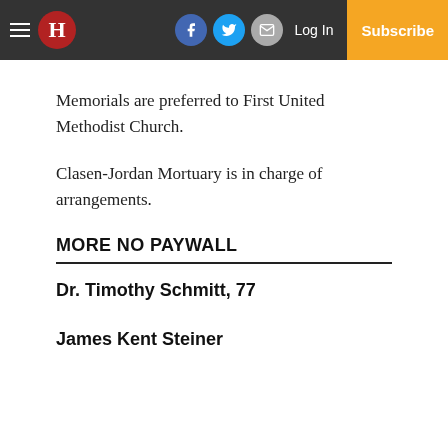H [logo] | Facebook | Twitter | Email | Log In | Subscribe
Memorials are preferred to First United Methodist Church.
Clasen-Jordan Mortuary is in charge of arrangements.
MORE NO PAYWALL
Dr. Timothy Schmitt, 77
James Kent Steiner